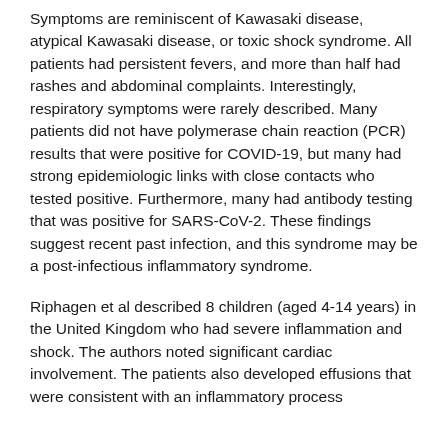Symptoms are reminiscent of Kawasaki disease, atypical Kawasaki disease, or toxic shock syndrome. All patients had persistent fevers, and more than half had rashes and abdominal complaints. Interestingly, respiratory symptoms were rarely described. Many patients did not have polymerase chain reaction (PCR) results that were positive for COVID-19, but many had strong epidemiologic links with close contacts who tested positive. Furthermore, many had antibody testing that was positive for SARS-CoV-2. These findings suggest recent past infection, and this syndrome may be a post-infectious inflammatory syndrome.
Riphagen et al described 8 children (aged 4-14 years) in the United Kingdom who had severe inflammation and shock. The authors noted significant cardiac involvement. The patients also developed effusions that were consistent with an inflammatory process